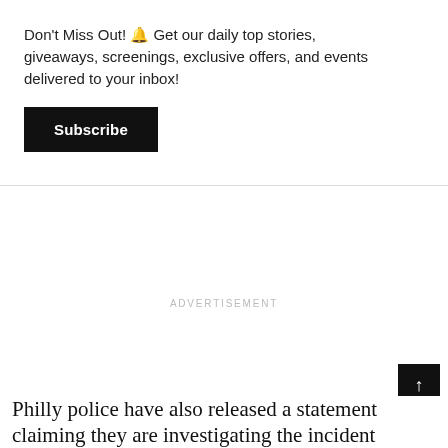Don't Miss Out! 🔔 Get our daily top stories, giveaways, screenings, exclusive offers, and events delivered to your inbox!
Subscribe
ADVERTISEMENT
Philly police have also released a statement claiming they are investigating the incident